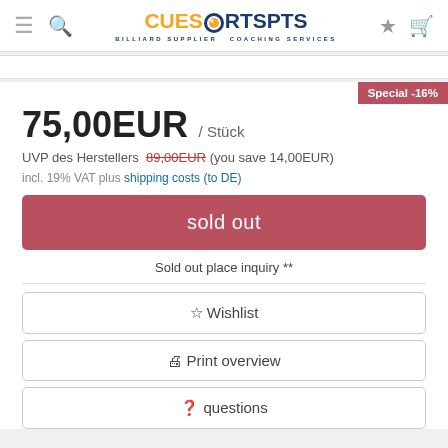CueSports - Billiard Supplier Coaching Services
Special -16%
75,00EUR / Stück
UVP des Herstellers 89,00EUR (you save 14,00EUR)
incl. 19% VAT plus shipping costs (to DE)
sold out
Sold out place inquiry **
☆ Wishlist
⊜ Print overview
❓ questions